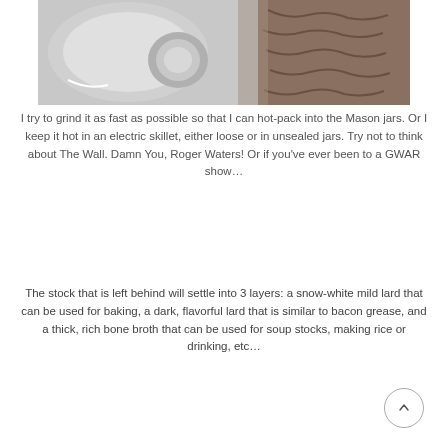[Figure (photo): Close-up photo of a meat grinder in action, showing ground meat being extruded on the right side and the silver metal body of the grinder on the left.]
I try to grind it as fast as possible so that I can hot-pack into the Mason jars. Or I keep it hot in an electric skillet, either loose or in unsealed jars. Try not to think about The Wall. Damn You, Roger Waters! Or if you've ever been to a GWAR show…
The stock that is left behind will settle into 3 layers: a snow-white mild lard that can be used for baking, a dark, flavorful lard that is similar to bacon grease, and a thick, rich bone broth that can be used for soup stocks, making rice or drinking, etc…